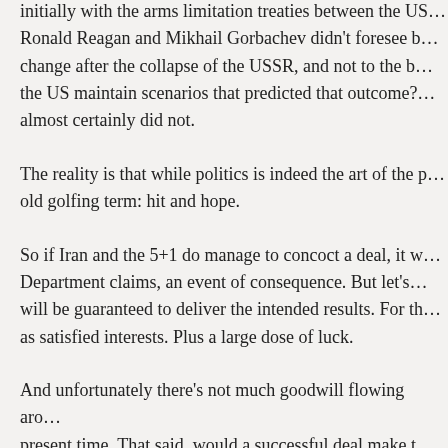initially with the arms limitation treaties between the US… Ronald Reagan and Mikhail Gorbachev didn't foresee b… change after the collapse of the USSR, and not to the b… the US maintain scenarios that predicted that outcome?… almost certainly did not.
The reality is that while politics is indeed the art of the p… old golfing term: hit and hope.
So if Iran and the 5+1 do manage to concoct a deal, it w… Department claims, an event of consequence. But let's… will be guaranteed to deliver the intended results. For th… as satisfied interests. Plus a large dose of luck.
And unfortunately there's not much goodwill flowing aro… present time. That said, would a successful deal make t… There's only one way to find out. For sure there will be h… hospitable, charming, inventive and smart people – who… cheering. Whether they will still be cheering in ten years… question.
But for their sake, I hope the negotiators can work it out…
Share this: